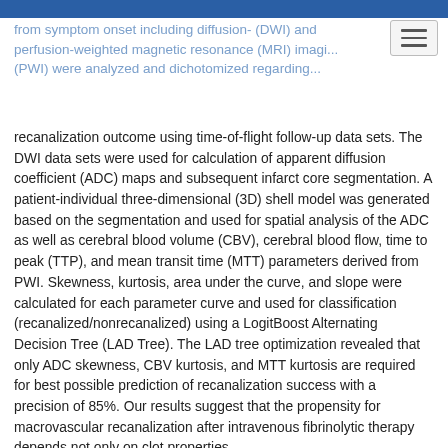from symptom onset including diffusion- (DWI) and perfusion-weighted magnetic resonance (MRI) imaging (PWI) were analyzed and dichotomized regarding recanalization outcome using time-of-flight follow-up data sets.
recanalization outcome using time-of-flight follow-up data sets. The DWI data sets were used for calculation of apparent diffusion coefficient (ADC) maps and subsequent infarct core segmentation. A patient-individual three-dimensional (3D) shell model was generated based on the segmentation and used for spatial analysis of the ADC as well as cerebral blood volume (CBV), cerebral blood flow, time to peak (TTP), and mean transit time (MTT) parameters derived from PWI. Skewness, kurtosis, area under the curve, and slope were calculated for each parameter curve and used for classification (recanalized/nonrecanalized) using a LogitBoost Alternating Decision Tree (LAD Tree). The LAD tree optimization revealed that only ADC skewness, CBV kurtosis, and MTT kurtosis are required for best possible prediction of recanalization success with a precision of 85%. Our results suggest that the propensity for macrovascular recanalization after intravenous fibrinolytic therapy depends not only on clot properties